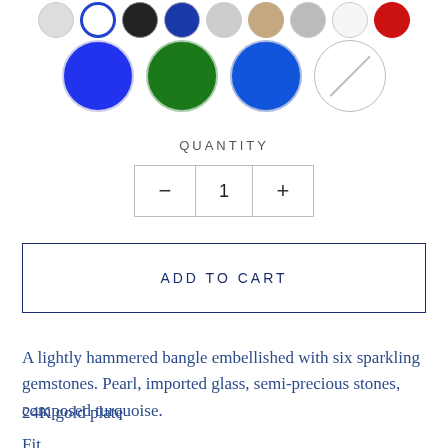[Figure (other): Top row of small color swatches (circles): light gray, blue ring, black, navy, light gray, beige/tan, light gray, white, red]
[Figure (other): Bottom row of four large color circle swatches: blue (filled), green (filled), blue (filled), empty/none (with diagonal line)]
QUANTITY
[Figure (other): Quantity stepper control showing minus button, value '1', and plus button]
ADD TO CART
A lightly hammered bangle embellished with six sparkling gemstones. Pearl, imported glass, semi-precious stones, composed turquoise.
24K gold plate
Fit